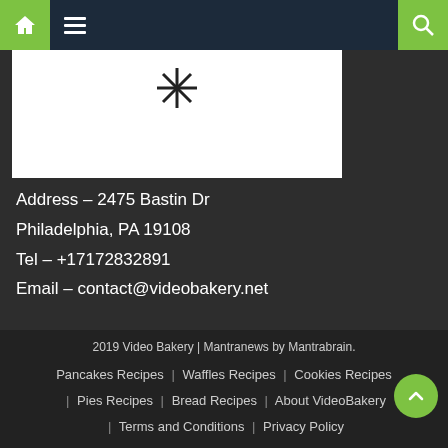Navigation bar with home, menu, and search icons
[Figure (logo): White rectangular logo area with small decorative icon/star at top center]
Address – 2475 Bastin Dr
Philadelphia, PA 19108
Tel – +17172832891
Email – contact@videobakery.net
2019 Video Bakery | Mantranews by Mantrabrain.
Pancakes Recipes | Waffles Recipes | Cookies Recipes | Pies Recipes | Bread Recipes | About VideoBakery | Terms and Conditions | Privacy Policy